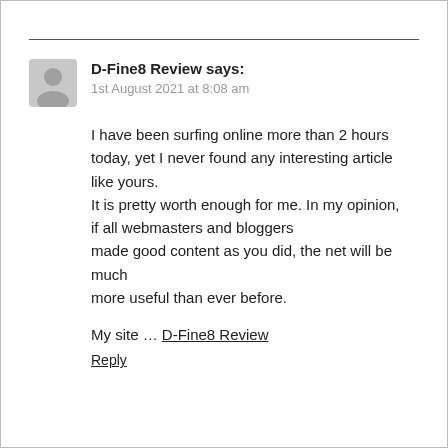D-Fine8 Review says:
1st August 2021 at 8:08 am
I have been surfing online more than 2 hours today, yet I never found any interesting article like yours.
It is pretty worth enough for me. In my opinion, if all webmasters and bloggers
made good content as you did, the net will be much
more useful than ever before.

My site … D-Fine8 Review
Reply